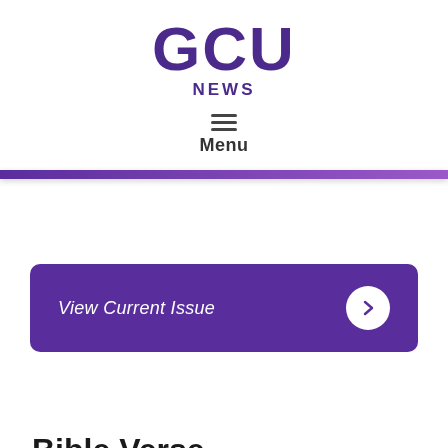GCU NEWS
Menu
View Current Issue
Bible Verse